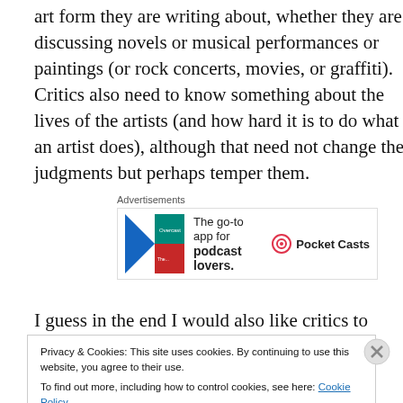art form they are writing about, whether they are discussing novels or musical performances or paintings (or rock concerts, movies, or graffiti). Critics also need to know something about the lives of the artists (and how hard it is to do what an artist does), although that need not change their judgments but perhaps temper them.
[Figure (illustration): Pocket Casts advertisement showing app icon and text 'The go-to app for podcast lovers.' with Pocket Casts logo]
I guess in the end I would also like critics to be decent
Privacy & Cookies: This site uses cookies. By continuing to use this website, you agree to their use.
To find out more, including how to control cookies, see here: Cookie Policy
Close and accept